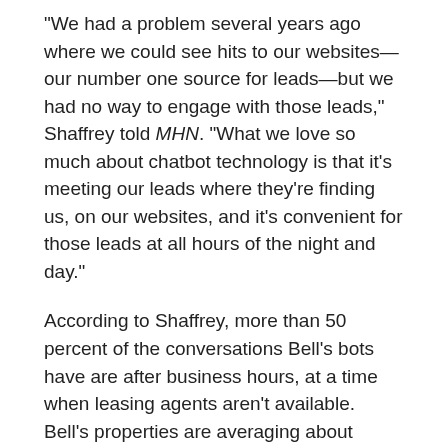“We had a problem several years ago where we could see hits to our websites—our number one source for leads—but we had no way to engage with those leads,” Shaffrey told MHN. “What we love so much about chatbot technology is that it’s meeting our leads where they’re finding us, on our websites, and it’s convenient for those leads at all hours of the night and day.”
According to Shaffrey, more than 50 percent of the conversations Bell’s bots have are after business hours, at a time when leasing agents aren’t available. Bell’s properties are averaging about 3,000 chatbot greets per month per property. Of those, about 30 appointments get scheduled for tours, resulting in 7 to 12 leases per month being signed just through that channel.
AION Management, a Philadelphia-based property management company with 12,500 units under management, has had a similar experience. Angie Cramp, the firm’s vice